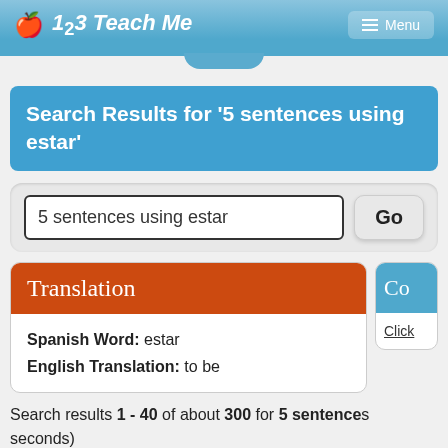123 Teach Me — Menu
Search Results for '5 sentences using estar'
5 sentences using estar  Go
Translation
Spanish Word: estar
English Translation: to be
Co...  Click
Search results 1 - 40 of about 300 for 5 sentences... seconds)